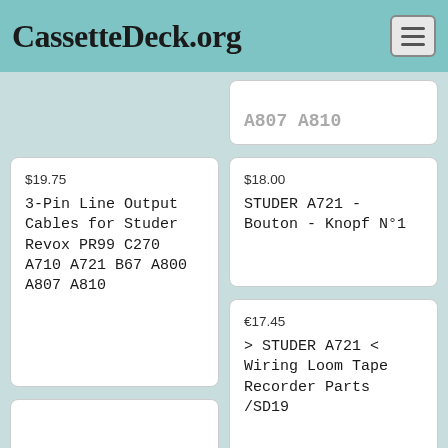CassetteDeck.org
A807 A810 (partial, cut off at top)
$19.75
3-Pin Line Output Cables for Studer Revox PR99 C270 A710 A721 B67 A800 A807 A810
$18.00
STUDER A721 - Bouton - Knopf N°1
€17.45
> STUDER A721 < Wiring Loom Tape Recorder Parts /SD19
(partial card bottom, cut off)